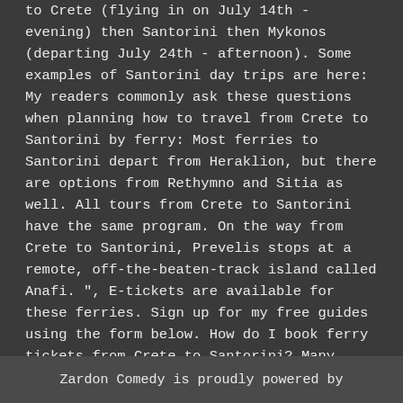to Crete (flying in on July 14th - evening) then Santorini then Mykonos (departing July 24th - afternoon). Some examples of Santorini day trips are here: My readers commonly ask these questions when planning how to travel from Crete to Santorini by ferry: Most ferries to Santorini depart from Heraklion, but there are options from Rethymno and Sitia as well. All tours from Crete to Santorini have the same program. On the way from Crete to Santorini, Prevelis stops at a remote, off-the-beaten-track island called Anafi. ", E-tickets are available for these ferries. Sign up for my free guides using the form below. How do I book ferry tickets from Crete to Santorini? Many wonder if there is a Crete to Santorini ferry. Minoan Lines is one of our favourite ferry companies in Greece. You might just find it easier to pre-book a taxi. How many airports are there in
Zardon Comedy is proudly powered by